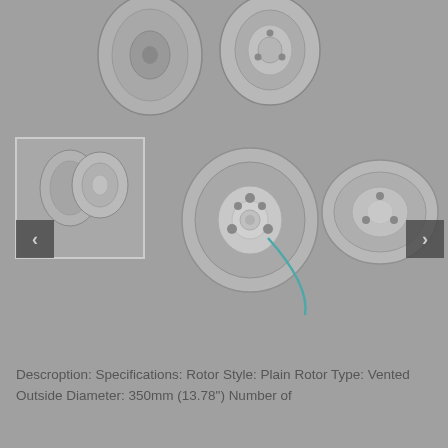[Figure (photo): Two brake rotors shown from above at an angle — one viewed from the front face and one from the rear/hub side, displayed on a gray background]
[Figure (photo): Product image carousel showing: a thumbnail of two brake rotors (selected, with left navigation arrow), a center front-face view of a single vented brake rotor with a teal/cyan curved line annotation, and a right-side angled view of a brake rotor, with a right navigation arrow]
Descroption: Specifications: Rotor Style: Plain Rotor Type: Vented Outside Diameter: 350mm (13.78") Number of